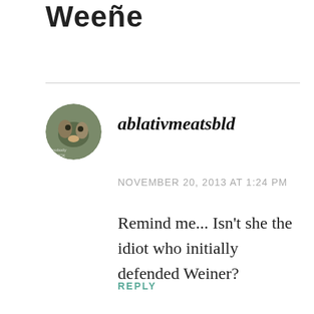Weeñe
ablativmeatsbld
NOVEMBER 20, 2013 AT 1:24 PM
Remind me... Isn't she the idiot who initially defended Weiner?
REPLY